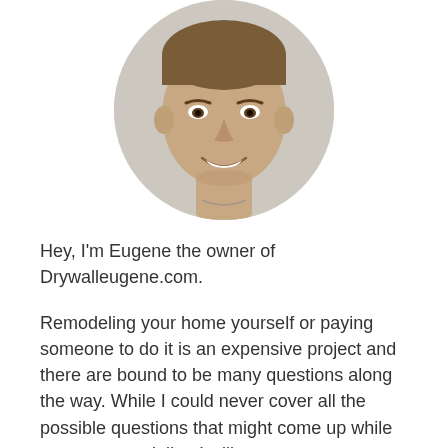[Figure (photo): Circular cropped headshot photo of a young man smiling, shown from shoulders up, with light brown hair, against a light beige/gray background.]
Hey, I'm Eugene the owner of Drywalleugene.com.
Remodeling your home yourself or paying someone to do it is an expensive project and there are bound to be many questions along the way. While I could never cover all the possible questions that might come up while you are remodeling I will try to answer as many of them as possible.
My main area of expertise is drywall, mudding, taping, painting, etc. (hence the name of the site) however, I always seem to get people asking me questions about other areas of their remodeling projects so I will try to